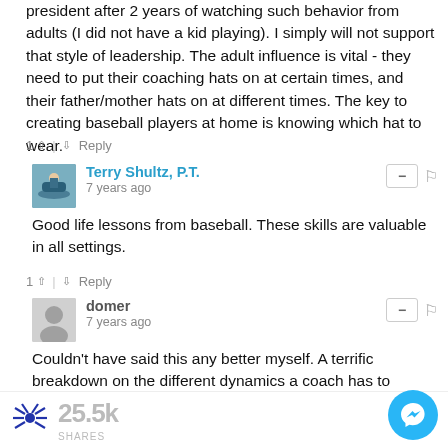president after 2 years of watching such behavior from adults (I did not have a kid playing). I simply will not support that style of leadership. The adult influence is vital - they need to put their coaching hats on at certain times, and their father/mother hats on at different times. The key to creating baseball players at home is knowing which hat to wear.
1 ^ | v Reply
Terry Shultz, P.T.
7 years ago
Good life lessons from baseball. These skills are valuable in all settings.
1 ^ | v Reply
domer
7 years ago
Couldn't have said this any better myself. A terrific breakdown on the different dynamics a coach has to negotiate with the development of different players. Th... for that.
25.5k SHARES